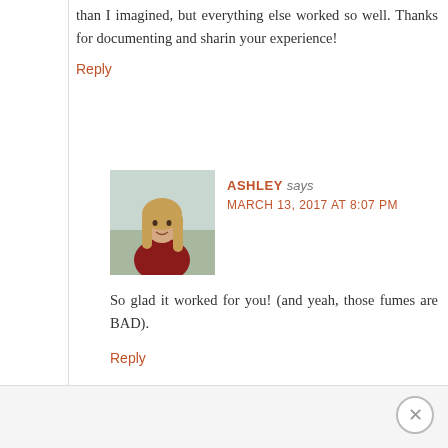than I imagined, but everything else worked so well. Thanks for documenting and sharing your experience!
Reply
ASHLEY says
MARCH 13, 2017 AT 8:07 PM
[Figure (photo): Avatar photo of Ashley, a young woman with long hair wearing a red top, photographed outdoors near water]
So glad it worked for you! (and yeah, those fumes are BAD).
Reply